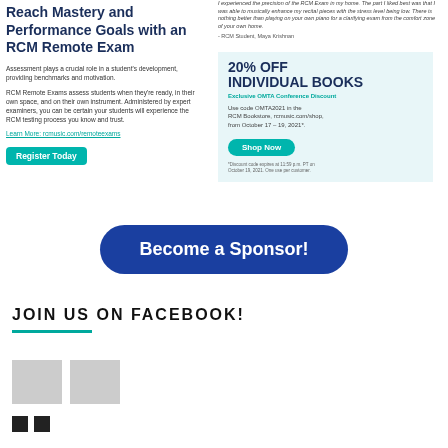I experienced the precision of the RCM Exam in my home. The part I liked best was that I was able to musically enhance my recital pieces with the stress level being low. There is nothing better than playing on your own piano for a clarifying exam from the comfort zone of your own home.
- RCM Student, Maya Krishnan
Reach Mastery and Performance Goals with an RCM Remote Exam
Assessment plays a crucial role in a student's development, providing benchmarks and motivation.
RCM Remote Exams assess students when they're ready, in their own space, and on their own instrument. Administered by expert examiners, you can be certain your students will experience the RCM testing process you know and trust.
Learn More: rcmusic.com/remoteexams
Register Today
20% OFF
INDIVIDUAL BOOKS
Exclusive OMTA Conference Discount

Use code OMTA2021 in the RCM Bookstore, rcmusic.com/shop, from October 17 – 19, 2021*.
Shop Now
*Discount code expires at 11:59 p.m. PT on October 19, 2021. One use per customer.
Become a Sponsor!
JOIN US ON FACEBOOK!
[Figure (photo): Facebook post preview images (small thumbnails)]